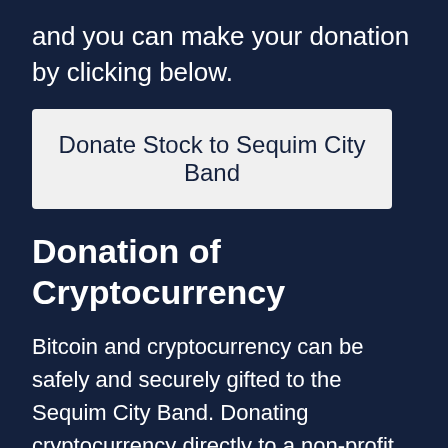and you can make your donation by clicking below.
Donate Stock to Sequim City Band
Donation of Cryptocurrency
Bitcoin and cryptocurrency can be safely and securely gifted to the Sequim City Band. Donating cryptocurrency directly to a non-profit organization may provide you with tax benefits:
You will receive a federal income tax deduction for the full value of your crypto